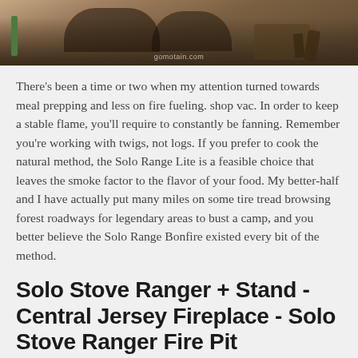[Figure (photo): Partial outdoor photo showing feet in sandals near a campfire with wood logs, earthy/forest ground. Watermark reads 'gomotain.com']
There's been a time or two when my attention turned towards meal prepping and less on fire fueling. shop vac. In order to keep a stable flame, you'll require to constantly be fanning. Remember you're working with twigs, not logs. If you prefer to cook the natural method, the Solo Range Lite is a feasible choice that leaves the smoke factor to the flavor of your food. My better-half and I have actually put many miles on some tire tread browsing forest roadways for legendary areas to bust a camp, and you better believe the Solo Range Bonfire existed every bit of the method.
Solo Stove Ranger + Stand - Central Jersey Fireplace - Solo Stove Ranger Fire Pit